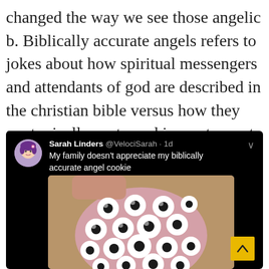changed the way we see those angelic b. Biblically accurate angels refers to jokes about how spiritual messengers and attendants of god are described in the christian bible versus how they are typically portrayed in western art.
[Figure (screenshot): A dark-mode tweet from Sarah Linders @VelociSarah 1d reading 'My family doesn't appreciate my biblically accurate angel cookie', with an image of a pink round cookie covered in many candy eyes (white with black pupils), held up by a finger.]